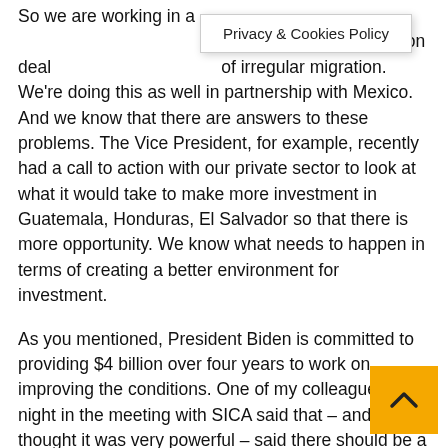So we are working in a Vice President Harris on dealing with the root causes of irregular migration. We're doing this as well in partnership with Mexico. And we know that there are answers to these problems. The Vice President, for example, recently had a call to action with our private sector to look at what it would take to make more investment in Guatemala, Honduras, El Salvador so that there is more opportunity. We know what needs to happen in terms of creating a better environment for investment.
As you mentioned, President Biden is committed to providing $4 billion over four years to work on improving the conditions. One of my colleagues last night in the meeting with SICA said that – and I thought it was very powerful – said there should be a right to remain. We have to give that meaning. We have to give meaning to the right to remain for people who – whether they're in El Salvador or in Guatemala or Honduras or Mexico – want to make their lives and their futures at home. But the conditions make that very, very difficult. We can do